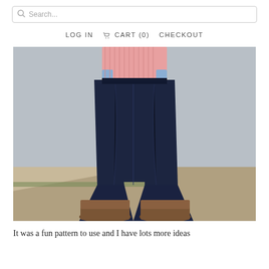Search...
LOG IN  CART (0)  CHECKOUT
[Figure (photo): Person standing against a grey wall outdoors, wearing dark navy bootcut jeans, a pink and blue striped button-up shirt, and brown boots. Lower half of body shown from waist down to feet.]
It was a fun pattern to use and I have lots more ideas